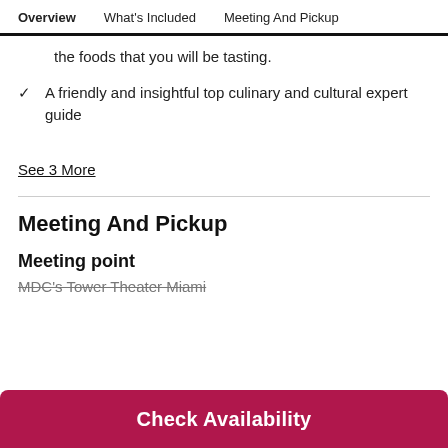Overview | What's Included | Meeting And Pickup
the foods that you will be tasting.
A friendly and insightful top culinary and cultural expert guide
See 3 More
Meeting And Pickup
Meeting point
MDC's Tower Theater Miami
Check Availability